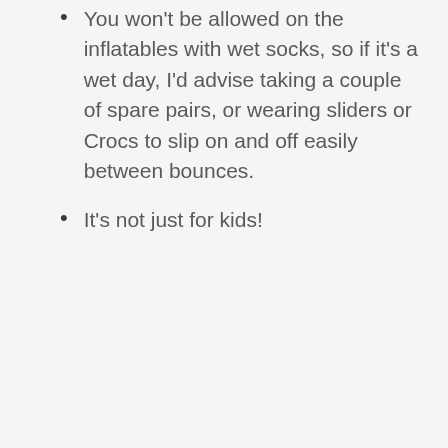You won't be allowed on the inflatables with wet socks, so if it's a wet day, I'd advise taking a couple of spare pairs, or wearing sliders or Crocs to slip on and off easily between bounces.
It's not just for kids!